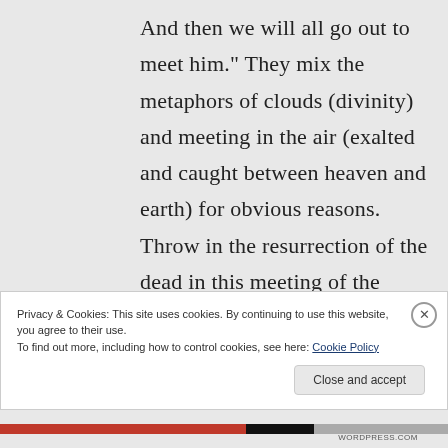And then we will all go out to meet him." They mix the metaphors of clouds (divinity) and meeting in the air (exalted and caught between heaven and earth) for obvious reasons. Throw in the resurrection of the dead in this meeting of the Lord and you have a beautiful way of talking
Privacy & Cookies: This site uses cookies. By continuing to use this website, you agree to their use.
To find out more, including how to control cookies, see here: Cookie Policy